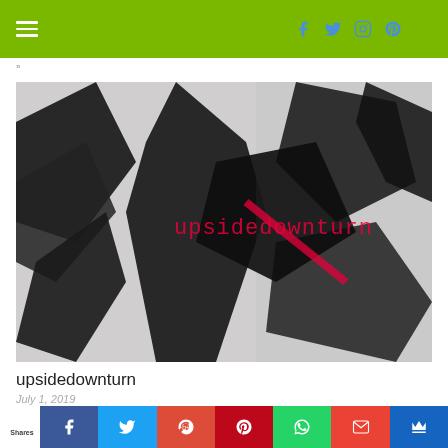Navigation header with hamburger menu and social icons (Facebook, Twitter, Instagram, Pinterest, Search) on green background
» [breadcrumb]
[Figure (photo): Black and white photo of tropical plant leaves with pink/magenta text overlay reading 'upsidedownturn']
upsidedownturn
July 1, 2019
Shares | Facebook | Twitter | Google+ | Pinterest | WhatsApp | Gmail | Crown